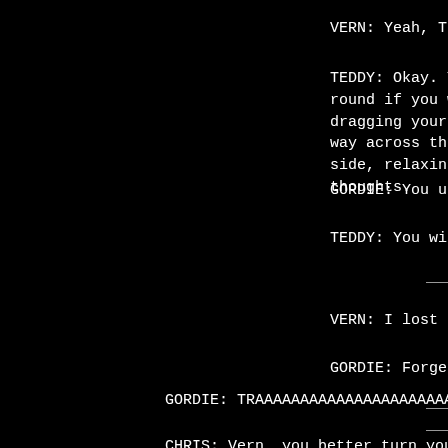VERN: Yeah, Teddy.
TEDDY: Okay. You guys can go round if you want. I'm not dragging your candy-asses half way across the state to this side, relaxing with my thoughts.
GORDIE: You use your left hand or your right hand
TEDDY: You wish.
VERN: I lost the comb.
GORDIE: Forget it, Vern.
GORDIE: TRAAAAAAAAAAAAAAAAAAAAAAAAAAAA
CHRIS: Vern, you better turn yours over.